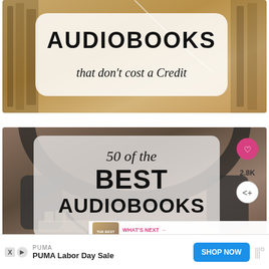[Figure (illustration): Top image showing stacked books with earphones and a white rounded rectangle overlay containing the text 'AUDIOBOOKS that don’t cost a Credit']
[Figure (illustration): Bottom image showing headphones on a desk with a semi-transparent light grey rounded rectangle overlay containing the text '50 of the BEST AUDIOBOOKS of all Time', with heart and share icons on the right side and a 2.8K count]
WHAT'S NEXT → 10 of the Best Audiobooks ...
PUMA
PUMA Labor Day Sale
SHOP NOW